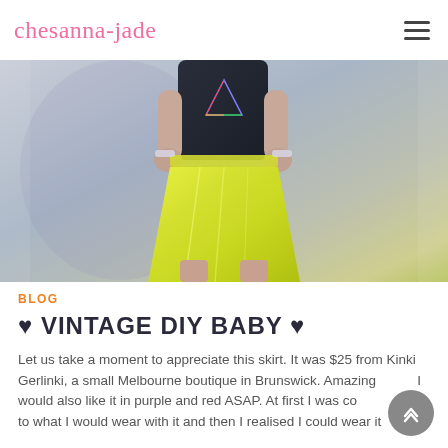chesanna-jade
[Figure (photo): A person wearing a dark graphic t-shirt and a shiny gold/yellow metallic skirt, standing against a light grey background.]
BLOG
♥ VINTAGE DIY BABY ♥
Let us take a moment to appreciate this skirt. It was $25 from Kinki Gerlinki, a small Melbourne boutique in Brunswick. Amazing right? I would also like it in purple and red ASAP. At first I was confused as to what I would wear with it and then I realised I could wear it